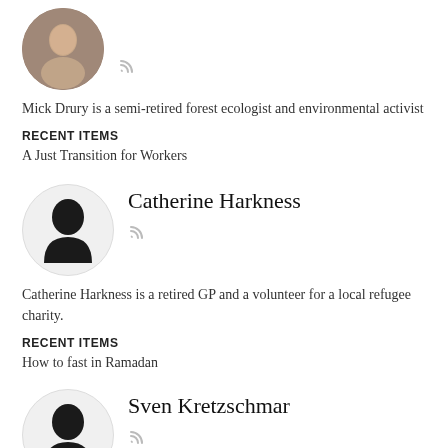[Figure (photo): Photo of Mick Drury, a middle-aged man, circular avatar]
Mick Drury is a semi-retired forest ecologist and environmental activist
RECENT ITEMS
A Just Transition for Workers
[Figure (illustration): Generic person silhouette avatar for Catherine Harkness]
Catherine Harkness
Catherine Harkness is a retired GP and a volunteer for a local refugee charity.
RECENT ITEMS
How to fast in Ramadan
[Figure (illustration): Generic person silhouette avatar for Sven Kretzschmar]
Sven Kretzschmar